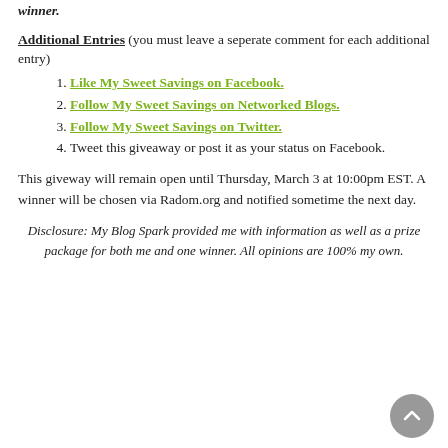winner.
Additional Entries (you must leave a seperate comment for each additional entry)
Like My Sweet Savings on Facebook.
Follow My Sweet Savings on Networked Blogs.
Follow My Sweet Savings on Twitter.
Tweet this giveaway or post it as your status on Facebook.
This giveway will remain open until Thursday, March 3 at 10:00pm EST. A winner will be chosen via Radom.org and notified sometime the next day.
Disclosure: My Blog Spark provided me with information as well as a prize package for both me and one winner. All opinions are 100% my own.